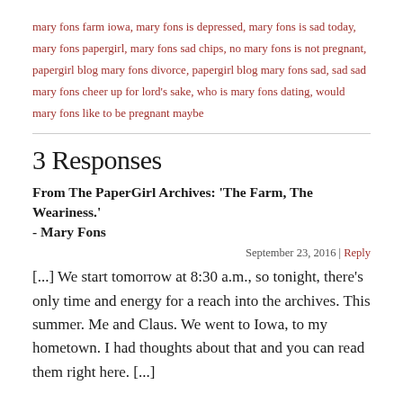mary fons farm iowa, mary fons is depressed, mary fons is sad today, mary fons papergirl, mary fons sad chips, no mary fons is not pregnant, papergirl blog mary fons divorce, papergirl blog mary fons sad, sad sad mary fons cheer up for lord's sake, who is mary fons dating, would mary fons like to be pregnant maybe
3 Responses
From The PaperGirl Archives: 'The Farm, The Weariness.' - Mary Fons
September 23, 2016 | Reply
[...] We start tomorrow at 8:30 a.m., so tonight, there's only time and energy for a reach into the archives. This summer. Me and Claus. We went to Iowa, to my hometown. I had thoughts about that and you can read them right here. [...]